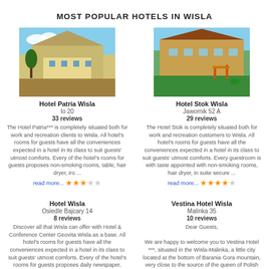MOST POPULAR HOTELS IN WISLA
[Figure (photo): Hotel Patria Wisla exterior photo showing mountain hotel building with trees and paved area]
Hotel Patria Wisla
Io 20
33 reviews
The Hotel Patria*** is completely situated both for work and recreation clients to Wisla. All hotel's rooms for guests have all the conveniences expected in a hotel in its class to suit guests' utmost comforts. Every of the hotel's rooms for guests proposes non-smoking rooms, table, hair dryer, iro ...
read more...
[Figure (photo): Hotel Stok Wisla exterior photo showing hotel building with green lawn and playground equipment]
Hotel Stok Wisla
Jawornik 52 A
29 reviews
The Hotel Stok is completely situated both for work and recreation customers to Wisla. All hotel's rooms for guests have all the conveniences expected in a hotel in its class to suit guests' utmost comforts. Every guestroom is with taste appointed with non-smoking rooms, hair dryer, in suite secure ...
read more...
Hotel Wisla
Osiedle Bajcary 14
8 reviews
Discover all that Wisla can offer with Hotel & Conference Center Geovita Wisla as a base. All hotel's rooms for guests have all the conveniences expected in a hotel in its class to suit guests' utmost comforts. Every of the hotel's rooms for guests proposes daily newspaper, table, hair ...
Vestina Hotel Wisla
Malinka 35
10 reviews
Dear Guests,
We are happy to welcome you to Vestina Hotel ***, situated in the Wisla-Malinka, a little city located at the bottom of Barania Gora mountain, very close to the source of the queen of Polish rivers - Vistula ...